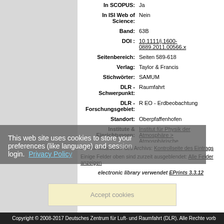| Label | Value |
| --- | --- |
| In SCOPUS: | Ja |
| In ISI Web of Science: | Nein |
| Band: | 63B |
| DOI : | 10.1111/j.1600-0889.2011.00566.x |
| Seitenbereich: | Seiten 589-618 |
| Verlag: | Taylor & Francis |
| Stichwörter: | SAMUM |
| DLR - Schwerpunkt: | Raumfahrt |
| DLR - Forschungsgebiet: | R EO - Erdbeobachtung |
| Standort: | Oberpfaffenhofen |
| Institute & Einrichtungen: | Institut für Physik der Atmosphäre > Atmosphärische Spurenstoffe |
Nur für Mitarbeiter des Archivs: Kontrollseite des Eintrags
Einige Felder oben sind zurzeit ausgeblendet: Alle Felder anzeigen
This web site uses cookies to store your preferences (like language) and session login. Privacy Policy
Accept cookies
electronic library verwendet EPrints 3.3.12
Copyright © 2008-2017 Deutsches Zentrum für Luft- und Raumfahrt (DLR). Alle Rechte vorb...